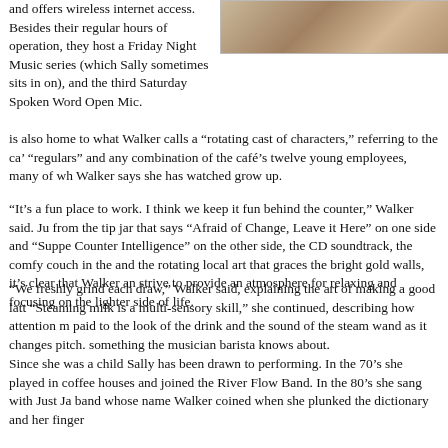[Figure (photo): Top right corner photo of a person seated indoors]
and offers wireless internet access. Besides their regular hours of operation, they host a Friday Night Music series (which Sally sometimes sits in on), and the third Saturday Spoken Word Open Mic. is also home to what Walker calls a “rotating cast of characters,” referring to the ca’ “regulars” and any combination of the café’s twelve young employees, many of wh Walker says she has watched grow up.
“It’s a fun place to work. I think we keep it fun behind the counter,” Walker said. Ju from the tip jar that says “Afraid of Change, Leave it Here” on one side and “Suppe Counter Intelligence” on the other side, the CD soundtrack, the comfy couch in the and the rotating local art that graces the bright gold walls, it’s clear that Walker an strive to provide an atmosphere for relaxing and focusing on the lighter side of life.
“We freshly grind each draw,” Walker said, explaining the art of making a good latt “Steaming milk is a multi-sensory skill,” she continued, describing how attention m paid to the look of the drink and the sound of the steam wand as it changes pitch. something the musician barista knows about.
Since she was a child Sally has been drawn to performing. In the 70’s she played in coffee houses and joined the River Flow Band. In the 80’s she sang with Just Ja band whose name Walker coined when she plunked the dictionary and her finger
[Figure (photo): Performance photo of a woman singing at microphone with band on stage with purple/mauve curtain backdrop]
“jake” (which mean Her musical backg cumulated in 2003 release of her first World on a String – collection of jazz st that showcase her smooth vocals. It’s hard to imagine